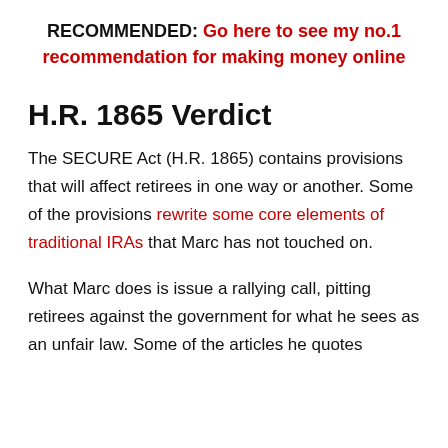RECOMMENDED: Go here to see my no.1 recommendation for making money online
H.R. 1865 Verdict
The SECURE Act (H.R. 1865) contains provisions that will affect retirees in one way or another. Some of the provisions rewrite some core elements of traditional IRAs that Marc has not touched on.
What Marc does is issue a rallying call, pitting retirees against the government for what he sees as an unfair law. Some of the articles he quotes